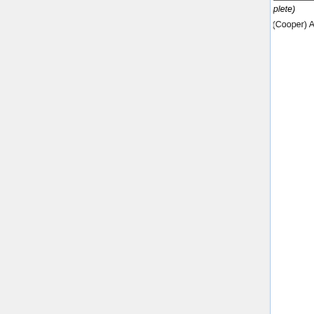|  |  | "DnA"). (Complete)
• ACTION: (Cooper) A "participant" section to the DPI page b on Google Group inclu Complete |
|  |  | Status/Discussion
• Question: (from Kai) how much techn specification content is allowed / required to IHE WPs? is especiall |